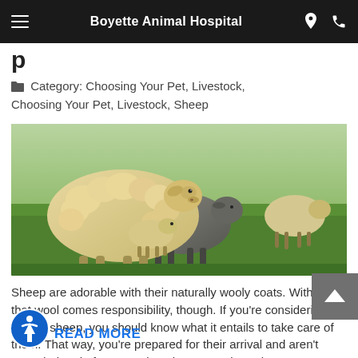Boyette Animal Hospital
Category: Choosing Your Pet, Livestock, Choosing Your Pet, Livestock, Sheep
[Figure (photo): Three sheep standing in a green grassy field. Two larger wooly sheep visible prominently in the center and foreground, one smaller sheep grazing in the background on the right.]
Sheep are adorable with their naturally wooly coats. With all that wool comes responsibility, though. If you're considering raising sheep, you should know what it entails to take care of them. That way, you're prepared for their arrival and aren't overwhelmed after you adopt them. Housing What type
READ MORE